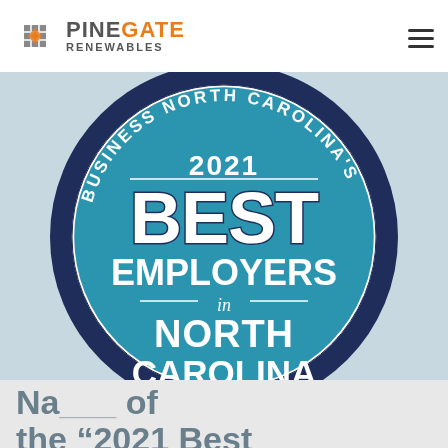[Figure (logo): PineGate Renewables logo with grid icon on the left and company name on the right, with hamburger menu icon on far right]
[Figure (illustration): Business North Carolina's 2021 Best Employers in North Carolina circular badge/seal. Dark navy outer ring with curved text 'BUSINESS NORTH CAROLINA'S', teal/cyan inner circle with white bold text reading '2021' at top, 'BEST' in large letters, 'EMPLOYERS' below, 'in' in smaller italic, then 'NORTH CAROLINA' in large bold letters at bottom.]
Na... of the "2021 Best